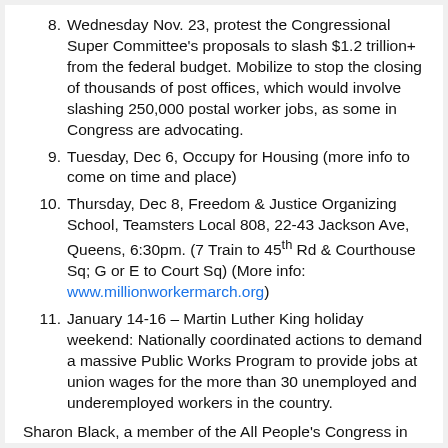8. Wednesday Nov. 23, protest the Congressional Super Committee's proposals to slash $1.2 trillion+ from the federal budget. Mobilize to stop the closing of thousands of post offices, which would involve slashing 250,000 postal worker jobs, as some in Congress are advocating.
9. Tuesday, Dec 6, Occupy for Housing (more info to come on time and place)
10. Thursday, Dec 8, Freedom & Justice Organizing School, Teamsters Local 808, 22-43 Jackson Ave, Queens, 6:30pm. (7 Train to 45th Rd & Courthouse Sq; G or E to Court Sq) (More info: www.millionworkermarch.org)
11. January 14-16 – Martin Luther King holiday weekend: Nationally coordinated actions to demand a massive Public Works Program to provide jobs at union wages for the more than 30 unemployed and underemployed workers in the country.
Sharon Black, a member of the All People's Congress in Baltimore, and the Occupy For Jobs